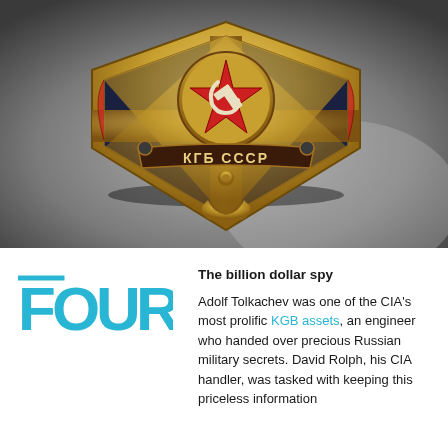[Figure (photo): Close-up photograph of a KGB USSR badge/emblem in gold and red tones. The badge features a hammer and sickle at the top, a red star, and a banner reading 'КГБ СССР' (KGB SSSR). The badge has a shield shape with an anchor at the bottom and is photographed against a metallic background.]
[Figure (logo): FOUR logo in cyan/light blue color. Stylized text 'FOUR' with a line above the F and angular letterforms.]
The billion dollar spy
Adolf Tolkachev was one of the CIA's most prolific KGB assets, an engineer who handed over precious Russian military secrets. David Rolph, his CIA handler, was tasked with keeping this priceless information